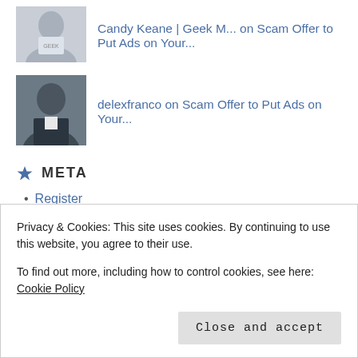[Figure (photo): Avatar photo of Candy Keane, a woman in a light-colored t-shirt]
Candy Keane | Geek M... on Scam Offer to Put Ads on Your...
[Figure (photo): Avatar photo of delexfranco, a man in a dark suit with red tie]
delexfranco on Scam Offer to Put Ads on Your...
META
Register
Log in
Entries feed
Comments feed
WordPress.com
Blogarama - Blog Directory
Privacy & Cookies: This site uses cookies. By continuing to use this website, you agree to their use.
To find out more, including how to control cookies, see here: Cookie Policy
Traffic Bot